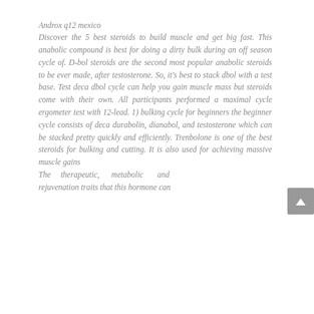Androx q12 mexico
Discover the 5 best steroids to build muscle and get big fast. This anabolic compound is best for doing a dirty bulk during an off season cycle of. D-bol steroids are the second most popular anabolic steroids to be ever made, after testosterone. So, it's best to stack dbol with a test base. Test deca dbol cycle can help you gain muscle mass but steroids come with their own. All participants performed a maximal cycle ergometer test with 12-lead. 1) bulking cycle for beginners the beginner cycle consists of deca durabolin, dianabol, and testosterone which can be stacked pretty quickly and efficiently. Trenbolone is one of the best steroids for bulking and cutting. It is also used for achieving massive muscle gains
The therapeutic, metabolic and rejuvenation traits that this hormone can